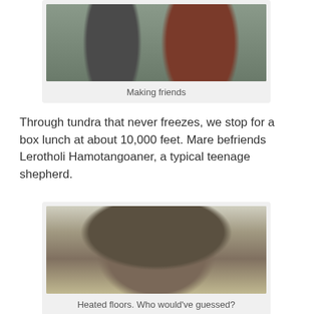[Figure (photo): Two people standing together, one wearing a grey shawl and the other a dark red/maroon zip-up jacket, outdoors on tundra landscape]
Making friends
Through tundra that never freezes, we stop for a box lunch at about 10,000 feet. Mare befriends Lerotholi Hamotangoaner, a typical teenage shepherd.
[Figure (photo): A traditional round stone hut with a thatched roof, a person in a yellow jacket standing in the low doorway, surrounded by muddy ground and green hills in the background]
Heated floors. Who would've guessed?